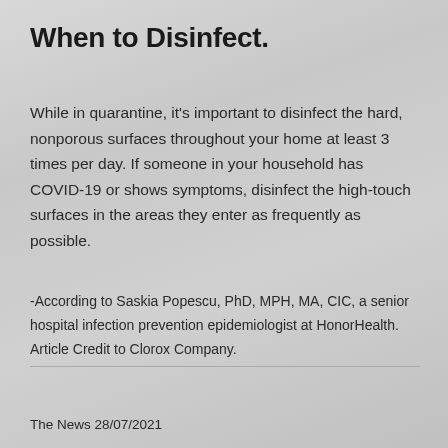When to Disinfect.
While in quarantine, it's important to disinfect the hard, nonporous surfaces throughout your home at least 3 times per day.  If someone in your household has COVID-19 or shows symptoms, disinfect the high-touch surfaces in the areas they enter as frequently as possible.
-According to Saskia Popescu, PhD, MPH, MA, CIC, a senior hospital infection prevention epidemiologist at HonorHealth.  Article Credit to Clorox Company.
The News 28/07/2021